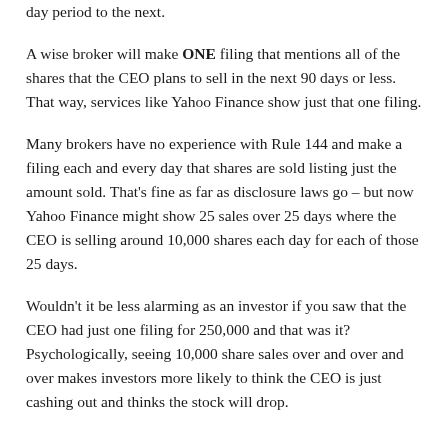day period to the next.
A wise broker will make ONE filing that mentions all of the shares that the CEO plans to sell in the next 90 days or less. That way, services like Yahoo Finance show just that one filing.
Many brokers have no experience with Rule 144 and make a filing each and every day that shares are sold listing just the amount sold. That's fine as far as disclosure laws go – but now Yahoo Finance might show 25 sales over 25 days where the CEO is selling around 10,000 shares each day for each of those 25 days.
Wouldn't it be less alarming as an investor if you saw that the CEO had just one filing for 250,000 and that was it? Psychologically, seeing 10,000 share sales over and over and over makes investors more likely to think the CEO is just cashing out and thinks the stock will drop.